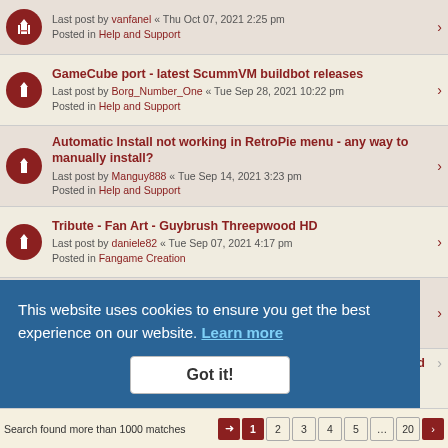Last post by vanfanel « Thu Oct 07, 2021 2:25 pm — Posted in Help and Support
GameCube port - latest ScummVM buildbot releases
Last post by Borg_Number_One « Tue Sep 28, 2021 10:22 pm
Posted in Help and Support
Automatic Install not working in RetroPie menu - any way to manually install?
Last post by Manguy888 « Tue Sep 14, 2021 3:23 pm
Posted in Help and Support
Tribute - Fan Art - Guybrush Threepwood HD
Last post by daniele82 « Tue Sep 07, 2021 4:17 pm
Posted in Fangame Creation
about the DC Buildbot releases
Last post by kremiso « Sun Sep 05, 2021 11:01 am
Posted in Dreamcast Port
The Fan Game : Ghostbusters and the Secret of Monkey Island
Last post by daniele82 « Thu Aug 12, 2021 4:51 pm
[partially obscured] on, a Meteor and the Alien Mindbenders
Last post by daniele82 « Thu Aug 12, 2021 4:48 pm
Posted in Fangame Creation
This website uses cookies to ensure you get the best experience on our website. Learn more
Got it!
Search found more than 1000 matches
1 2 3 4 5 ... 20